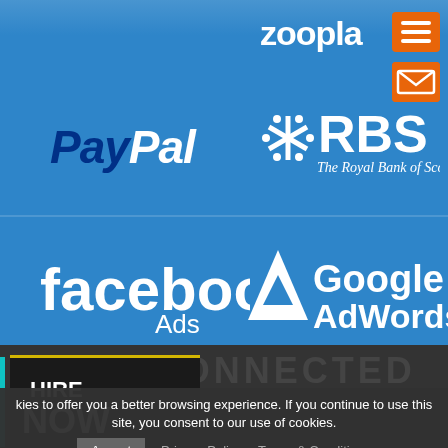[Figure (screenshot): Website screenshot showing partner logos (Zoopla, PayPal, RBS, Facebook Ads, Google AdWords) on a blue background with navigation icons, a dark footer section with STAY CONNECTED heading, HIRE NOW badge, and a cookie consent bar at the bottom.]